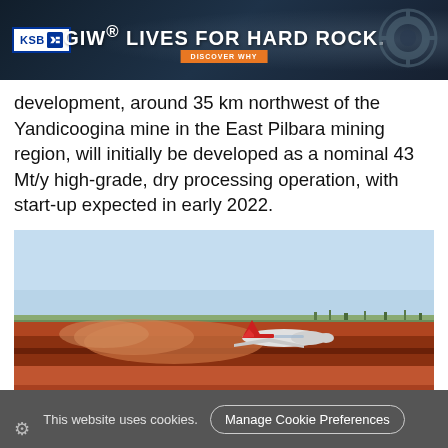[Figure (other): GIW advertisement banner with dark blue/teal background, KSB logo on left, bold white headline 'GIW® LIVES FOR HARD ROCK.' with orange 'DISCOVER WHY' button below, machinery image on right]
development, around 35 km northwest of the Yandicoogina mine in the East Pilbara mining region, will initially be developed as a nominal 43 Mt/y high-grade, dry processing operation, with start-up expected in early 2022.
[Figure (photo): Photograph of a commercial airplane on a red dirt runway in an arid outback landscape, with reddish dust cloud behind it, clear blue sky, sparse vegetation on horizon]
This website uses cookies. Manage Cookie Preferences